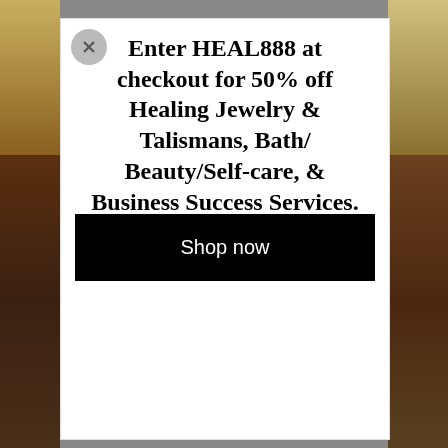Enter HEAL888 at checkout for 50% off Healing Jewelry & Talismans, Bath/ Beauty/Self-care, & Business Success Services.
Shop now